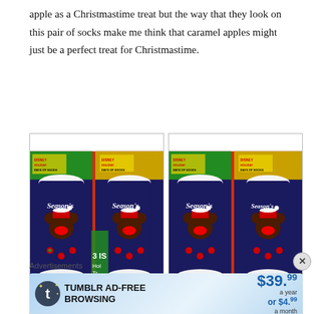apple as a Christmastime treat but the way that they look on this pair of socks make me think that caramel apples might just be a perfect treat for Christmastime.
[Figure (photo): Two side-by-side photos of dark navy Christmas-themed socks with Disney Mickey/Minnie Mouse characters wearing Santa hats, text reading 'Season's Sweetings' on a colorful holiday box background.]
Advertisements
[Figure (other): Tumblr Ad-Free Browsing advertisement banner showing $39.99 a year or $4.99 a month pricing.]